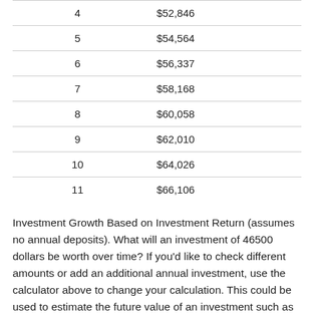| Year | Value |
| --- | --- |
| 4 | $52,846 |
| 5 | $54,564 |
| 6 | $56,337 |
| 7 | $58,168 |
| 8 | $60,058 |
| 9 | $62,010 |
| 10 | $64,026 |
| 11 | $66,106 |
Investment Growth Based on Investment Return (assumes no annual deposits). What will an investment of 46500 dollars be worth over time? If you'd like to check different amounts or add an additional annual investment, use the calculator above to change your calculation. This could be used to estimate the future value of an investment such as a bond, CD, real estate, or